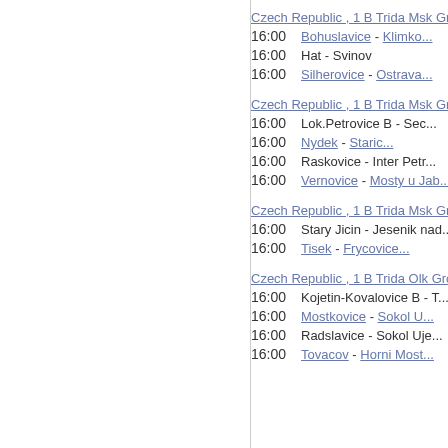Czech Republic , 1 B Trida Msk Group...
16:00   Bohuslavice - Klimko...
16:00   Hat - Svinov
16:00   Silherovice - Ostrava...
Czech Republic , 1 B Trida Msk Group...
16:00   Lok.Petrovice B - Sec...
16:00   Nydek - Staric...
16:00   Raskovice - Inter Petr...
16:00   Vernovice - Mosty u Jab...
Czech Republic , 1 B Trida Msk Group...
16:00   Stary Jicin - Jesenik nad...
16:00   Tisek - Frycovice...
Czech Republic , 1 B Trida Olk Group...
16:00   Kojetin-Kovalovice B - T...
16:00   Mostkovice - Sokol U...
16:00   Radslavice - Sokol Uje...
16:00   Tovacov - Horni Most...